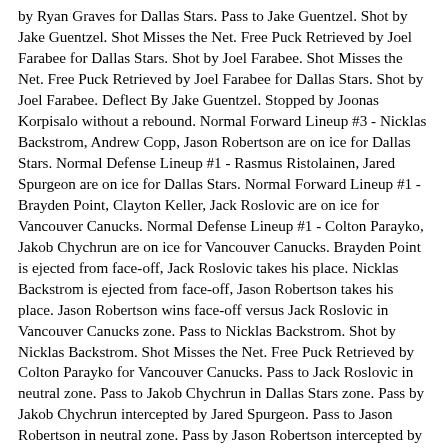by Ryan Graves for Dallas Stars. Pass to Jake Guentzel. Shot by Jake Guentzel. Shot Misses the Net. Free Puck Retrieved by Joel Farabee for Dallas Stars. Shot by Joel Farabee. Shot Misses the Net. Free Puck Retrieved by Joel Farabee for Dallas Stars. Shot by Joel Farabee. Deflect By Jake Guentzel. Stopped by Joonas Korpisalo without a rebound. Normal Forward Lineup #3 - Nicklas Backstrom, Andrew Copp, Jason Robertson are on ice for Dallas Stars. Normal Defense Lineup #1 - Rasmus Ristolainen, Jared Spurgeon are on ice for Dallas Stars. Normal Forward Lineup #1 - Brayden Point, Clayton Keller, Jack Roslovic are on ice for Vancouver Canucks. Normal Defense Lineup #1 - Colton Parayko, Jakob Chychrun are on ice for Vancouver Canucks. Brayden Point is ejected from face-off, Jack Roslovic takes his place. Nicklas Backstrom is ejected from face-off, Jason Robertson takes his place. Jason Robertson wins face-off versus Jack Roslovic in Vancouver Canucks zone. Pass to Nicklas Backstrom. Shot by Nicklas Backstrom. Shot Misses the Net. Free Puck Retrieved by Colton Parayko for Vancouver Canucks. Pass to Jack Roslovic in neutral zone. Pass to Jakob Chychrun in Dallas Stars zone. Pass by Jakob Chychrun intercepted by Jared Spurgeon. Pass to Jason Robertson in neutral zone. Pass by Jason Robertson intercepted by Jakob Chychrun. Puck is dumped in Dallas Stars zone by Jakob Chychrun. Puck retreived by Nicklas Backstrom. Nicklas Backstrom is hit by Clayton Keller. Pass by Nicklas Backstrom intercepted by Jack Roslovic in neutral zone. Pass to Jakob Chychrun in Dallas Stars zone. Pass to Jack Roslovic.